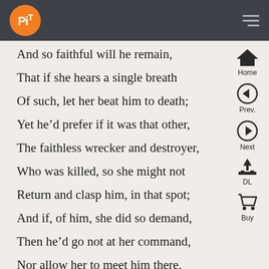PiT
And so faithful will he remain,
That if she hears a single breath
Of such, let her beat him to death;
Yet he’d prefer if it was that other,
The faithless wrecker and destroyer,
Who was killed, so she might not
Return and clasp him, in that spot;
And if, of him, she did so demand,
Then he’d go not at her command,
Nor allow her to meet him there,